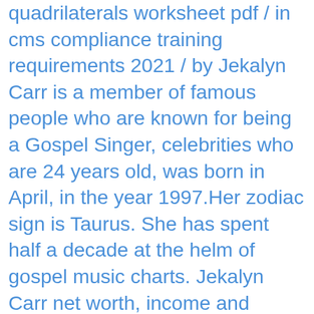quadrilaterals worksheet pdf / in cms compliance training requirements 2021 / by Jekalyn Carr is a member of famous people who are known for being a Gospel Singer, celebrities who are 24 years old, was born in April, in the year 1997.Her zodiac sign is Taurus. She has spent half a decade at the helm of gospel music charts. Jekalyn Carr net worth, income and Youtube channel estimated earnings, Jekalyn Carr income. Her birth name is Jekalyn Carr and she is currently 24 years old. Jekalyn Carr net worth. It started 8 years ago and has 76 uploaded videos. Jekalyn Carr has a net worth of $5.00 million (Estimated) which she earned from her occupation as Businessperson. How much money does she have? She has a slim and curvy body. Her love for God, despite her success, teaches all of us to value humility. Jekalyn Carr estimated income, Wage, Net Worth, Cars, Personal Life & many more details have been updated below.Let's see, how wealthy is Jekalyn Carr in 2019-2021? Jekalyn Carr Biography. Other Facts. Jekalyn Carr Biography. $100,000 - $1M. Net Worth. Jekalyn Carr net worth Jekalyn Carr has made enough money through her music career as a gospel singer, she is estimated to have a net worth of $5 million. She comes from West Memphis, Arkansas.She became a successful singer as a teenager. Yearly Salary. She is seen as one of the most successful Businessperson of all times. Net worth is calculated by adding anything of value and then subtracting all of the